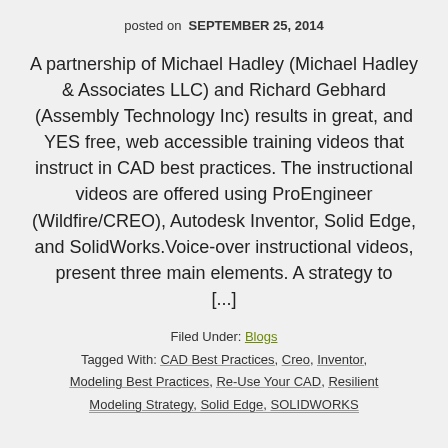posted on  SEPTEMBER 25, 2014
A partnership of Michael Hadley (Michael Hadley & Associates LLC) and Richard Gebhard (Assembly Technology Inc) results in great, and YES free, web accessible training videos that instruct in CAD best practices. The instructional videos are offered using ProEngineer (Wildfire/CREO), Autodesk Inventor, Solid Edge, and SolidWorks.Voice-over instructional videos, present three main elements. A strategy to [...]
Filed Under: Blogs
Tagged With: CAD Best Practices, Creo, Inventor, Modeling Best Practices, Re-Use Your CAD, Resilient Modeling Strategy, Solid Edge, SOLIDWORKS